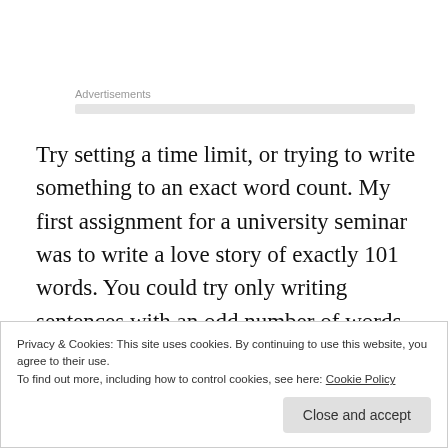Advertisements
Try setting a time limit, or trying to write something to an exact word count. My first assignment for a university seminar was to write a love story of exactly 101 words. You could try only writing sentences with an odd number of words, or start every sentence with the same letter. Writing to strict rules can be difficult, but it’s also a really good exercise and could help get the imagination flowing
Privacy & Cookies: This site uses cookies. By continuing to use this website, you agree to their use.
To find out more, including how to control cookies, see here: Cookie Policy